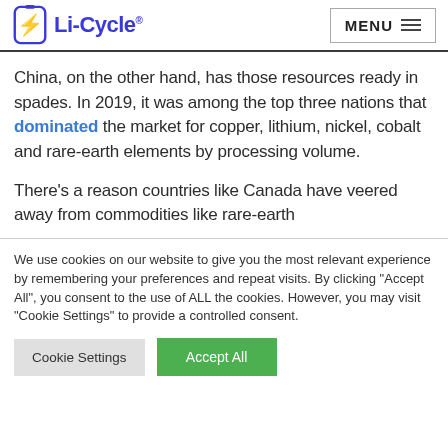Li-Cycle | MENU
China, on the other hand, has those resources ready in spades. In 2019, it was among the top three nations that dominated the market for copper, lithium, nickel, cobalt and rare-earth elements by processing volume.
There’s a reason countries like Canada have veered away from commodities like rare-earth
We use cookies on our website to give you the most relevant experience by remembering your preferences and repeat visits. By clicking “Accept All”, you consent to the use of ALL the cookies. However, you may visit “Cookie Settings” to provide a controlled consent.